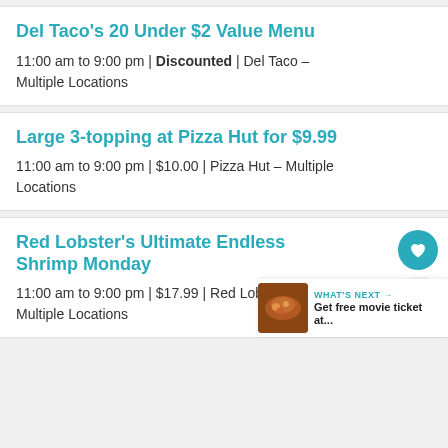Del Taco's 20 Under $2 Value Menu
11:00 am to 9:00 pm | Discounted | Del Taco – Multiple Locations
Large 3-topping at Pizza Hut for $9.99
11:00 am to 9:00 pm | $10.00 | Pizza Hut – Multiple Locations
Red Lobster's Ultimate Endless Shrimp Monday
11:00 am to 9:00 pm | $17.99 | Red Lobster – Multiple Locations
WHAT'S NEXT → Get free movie ticket at...